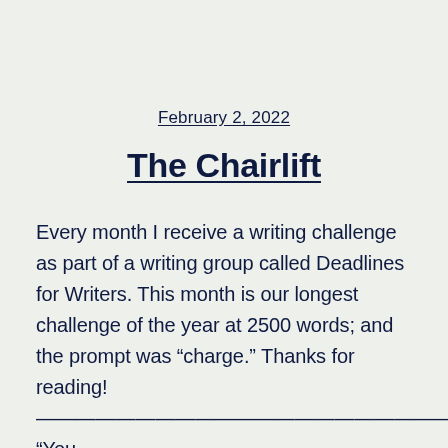February 2, 2022
The Chairlift
Every month I receive a writing challenge as part of a writing group called Deadlines for Writers. This month is our longest challenge of the year at 2500 words; and the prompt was “charge.” Thanks for reading!
—————————————————————— “You aren’t scared are you?” Erica rocked the